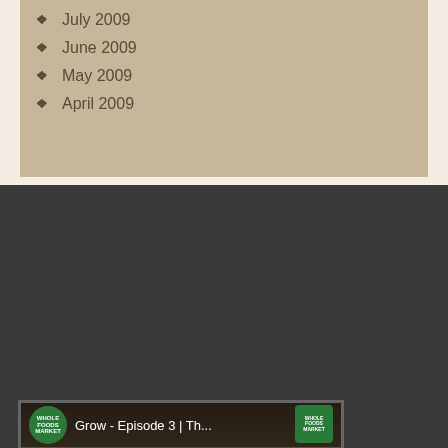July 2009
June 2009
May 2009
April 2009
[Figure (screenshot): YouTube video embed thumbnail showing 'Grow - Episode 3 | Th...' from Whole Foods Market channel, with a red play button and text 'Tom & Rachel' at the bottom]